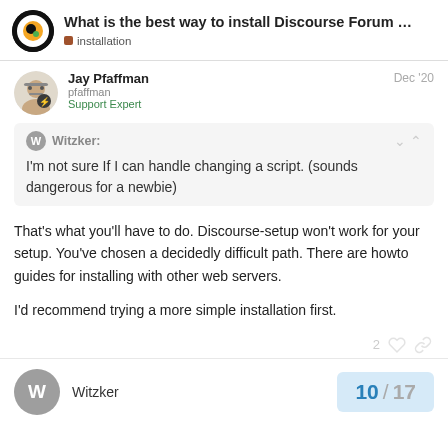What is the best way to install Discourse Forum … | installation
Jay Pfaffman
pfaffman
Support Expert
Dec '20
Witzker:
I'm not sure If I can handle changing a script. (sounds dangerous for a newbie)
That's what you'll have to do. Discourse-setup won't work for your setup. You've chosen a decidedly difficult path. There are howto guides for installing with other web servers.

I'd recommend trying a more simple installation first.
2
Witzker
10 / 17